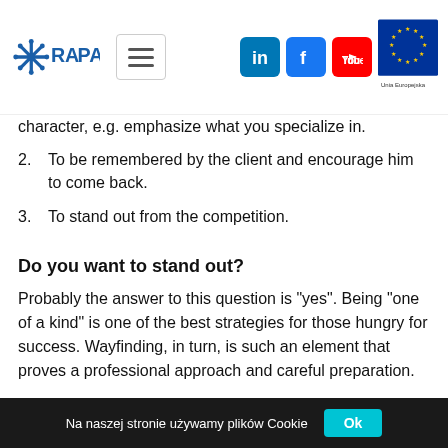RAPA logo, menu button, LinkedIn, Facebook, YouTube icons, Unia Europejska badge
character, e.g. emphasize what you specialize in.
2. To be remembered by the client and encourage him to come back.
3. To stand out from the competition.
Do you want to stand out?
Probably the answer to this question is "yes". Being "one of a kind" is one of the best strategies for those hungry for success. Wayfinding, in turn, is such an element that proves a professional approach and careful preparation.
Na naszej stronie używamy plików Cookie  Ok